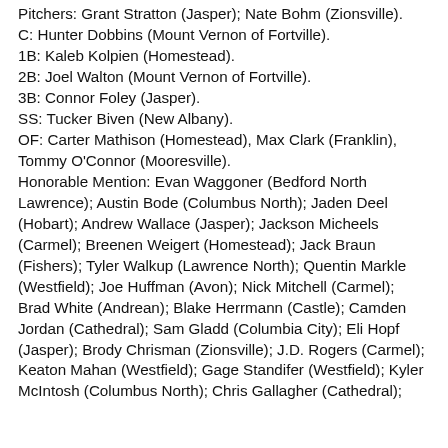Pitchers: Grant Stratton (Jasper); Nate Bohm (Zionsville). C: Hunter Dobbins (Mount Vernon of Fortville). 1B: Kaleb Kolpien (Homestead). 2B: Joel Walton (Mount Vernon of Fortville). 3B: Connor Foley (Jasper). SS: Tucker Biven (New Albany). OF: Carter Mathison (Homestead), Max Clark (Franklin), Tommy O'Connor (Mooresville). Honorable Mention: Evan Waggoner (Bedford North Lawrence); Austin Bode (Columbus North); Jaden Deel (Hobart); Andrew Wallace (Jasper); Jackson Micheels (Carmel); Breenen Weigert (Homestead); Jack Braun (Fishers); Tyler Walkup (Lawrence North); Quentin Markle (Westfield); Joe Huffman (Avon); Nick Mitchell (Carmel); Brad White (Andrean); Blake Herrmann (Castle); Camden Jordan (Cathedral); Sam Gladd (Columbia City); Eli Hopf (Jasper); Brody Chrisman (Zionsville); J.D. Rogers (Carmel); Keaton Mahan (Westfield); Gage Standifer (Westfield); Kyler McIntosh (Columbus North); Chris Gallagher (Cathedral);